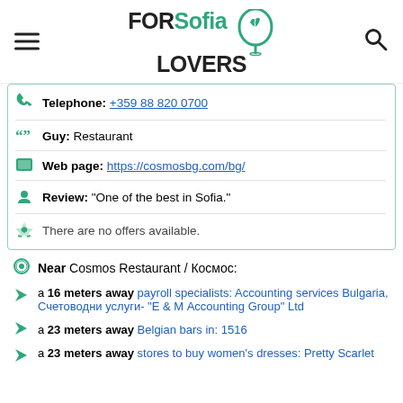FORSofia LOVERS
Telephone: +359 88 820 0700
Guy: Restaurant
Web page: https://cosmosbg.com/bg/
Review: "One of the best in Sofia."
There are no offers available.
Near Cosmos Restaurant / Космос:
a 16 meters away payroll specialists: Accounting services Bulgaria, Счетоводни услуги- "Е & М Accounting Group" Ltd
a 23 meters away Belgian bars in: 1516
a 23 meters away stores to buy women's dresses: Pretty Scarlet